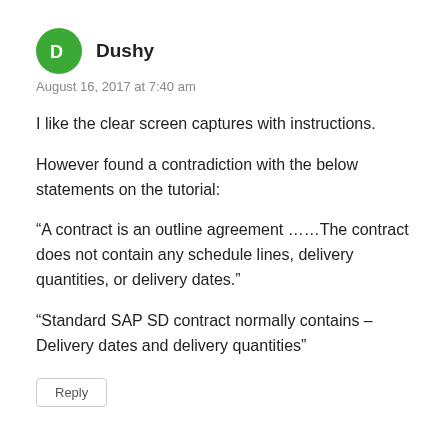Dushy
August 16, 2017 at 7:40 am
I like the clear screen captures with instructions.
However found a contradiction with the below statements on the tutorial:
“A contract is an outline agreement ……The contract does not contain any schedule lines, delivery quantities, or delivery dates.”
“Standard SAP SD contract normally contains – Delivery dates and delivery quantities”